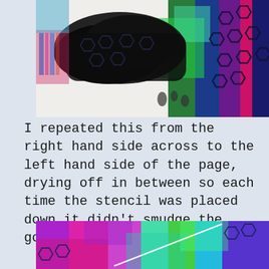[Figure (photo): Top portion of an art page showing black paint swipes with hexagonal stencil patterns and colorful (green, blue, purple, magenta) ink underneath on white paper]
I repeated this from the right hand side across to the left hand side of the page, drying off in between so each time the stencil was placed down it didn’t smudge the gorgeous image.
[Figure (photo): Bottom portion showing colorful art with rainbow hues (teal, green, magenta, purple) with hexagonal stencil patterns and a white diagonal line across]